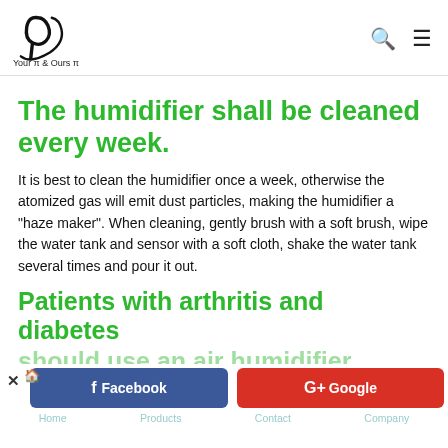Your π & Ours π — logo with search and menu icons
The humidifier shall be cleaned every week.
It is best to clean the humidifier once a week, otherwise the atomized gas will emit dust particles, making the humidifier a "haze maker". When cleaning, gently brush with a soft brush, wipe the water tank and sensor with a soft cloth, shake the water tank several times and pour it out.
Patients with arthritis and diabetes should use an air humidifier...
Facebook | G+Google | Home | Products | Contact | Company